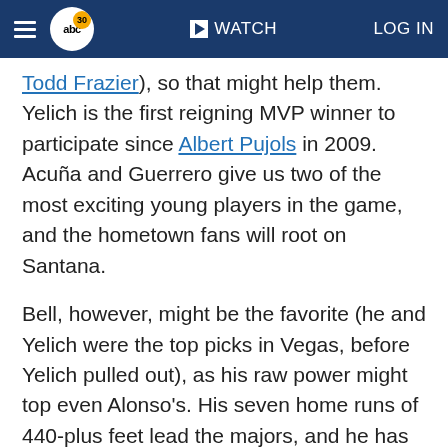abc30 | WATCH | LOG IN
Todd Frazier), so that might help them. Yelich is the first reigning MVP winner to participate since Albert Pujols in 2009. Acuña and Guerrero give us two of the most exciting young players in the game, and the hometown fans will root on Santana.
Bell, however, might be the favorite (he and Yelich were the top picks in Vegas, before Yelich pulled out), as his raw power might top even Alonso's. His seven home runs of 440-plus feet lead the majors, and he has cranked two into the Allegheny River beyond the right-field stands at PNC Park -- becoming just the fourth player in PNC history to reach the river on the fly.